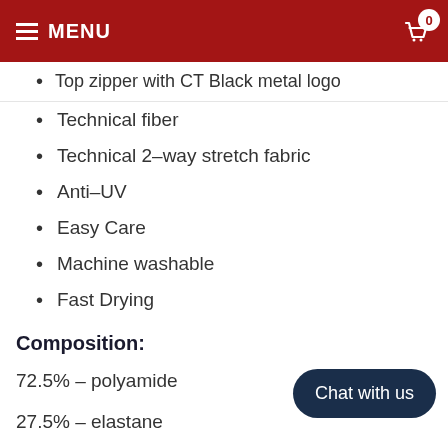MENU
Two front pocket
Top zipper with CT Black metal logo
Technical fiber
Technical 2-way stretch fabric
Anti-UV
Easy Care
Machine washable
Fast Drying
Composition:
72.5% – polyamide
27.5% – elastane
Care Instructions:
30° Gentle wash